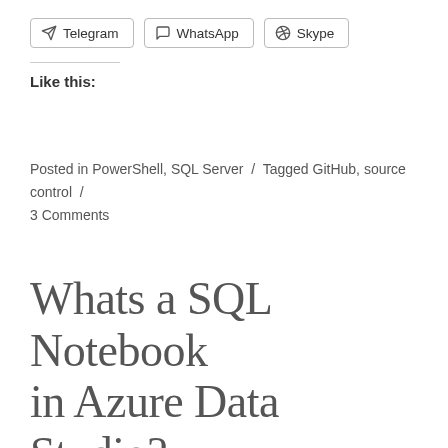[Figure (other): Three social share buttons: Telegram, WhatsApp, Skype]
Like this:
Posted in PowerShell, SQL Server / Tagged GitHub, source control / 3 Comments
Whats a SQL Notebook in Azure Data Studio?
Posted on March 13, 2019
Azure Data Studio is a cross-platform database tool for data professionals using the Microsoft family of on-premises and